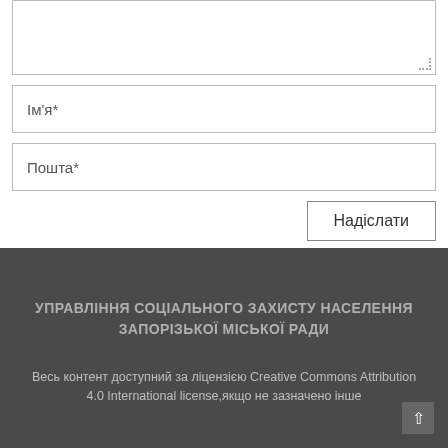[Figure (screenshot): Textarea input field with resize handle in bottom right corner]
Ім'я*
Пошта*
Надіслати
УПРАВЛІННЯ СОЦІАЛЬНОГО ЗАХИСТУ НАСЕЛЕННЯ ЗАПОРІЗЬКОЇ МІСЬКОЇ РАДИ
Весь контент доступний за ліцензією Creative Commons Attribution 4.0 International license,якщо не зазначено інше